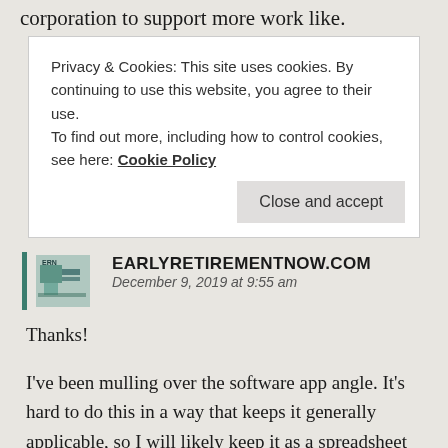corporation to support more work like.
Privacy & Cookies: This site uses cookies. By continuing to use this website, you agree to their use.
To find out more, including how to control cookies, see here: Cookie Policy
Close and accept
EARLYRETIREMENTNOW.COM
December 9, 2019 at 9:55 am
Thanks!
I've been mulling over the software app angle. It's hard to do this in a way that keeps it generally applicable, so I will likely keep it as a spreadsheet the way it is right now.
Like